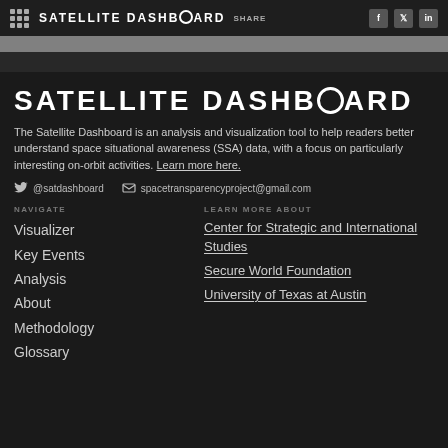SATELLITE DASHBOARD  SHARE
SATELLITE DASHBOARD
The Satellite Dashboard is an analysis and visualization tool to help readers better understand space situational awareness (SSA) data, with a focus on particularly interesting on-orbit activities. Learn more here.
@satdashboard  spacetransparencyproject@gmail.com
NAVIGATE
Visualizer
Key Events
Analysis
About
Methodology
Glossary
LEARN MORE ABOUT
Center for Strategic and International Studies
Secure World Foundation
University of Texas at Austin